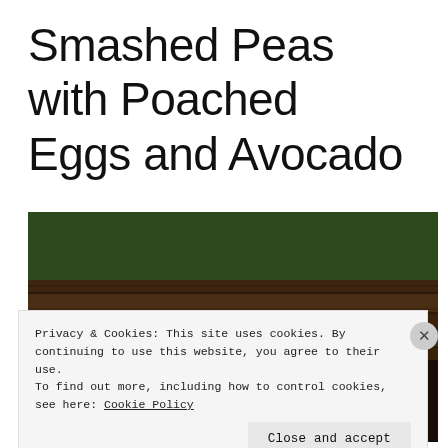Smashed Peas with Poached Eggs and Avocado
[Figure (photo): A food photograph showing a yellow plate with smashed peas (green), rice, and a piece of food on a wooden surface with green plants in the background.]
Privacy & Cookies: This site uses cookies. By continuing to use this website, you agree to their use.
To find out more, including how to control cookies, see here: Cookie Policy
Close and accept